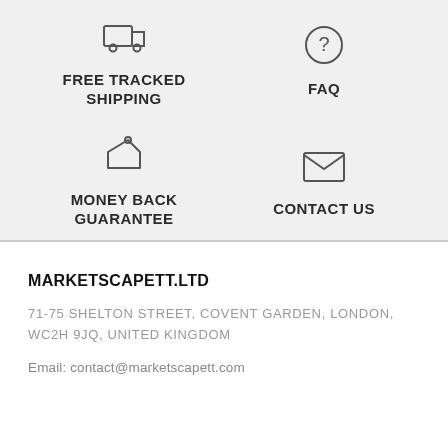[Figure (infographic): Truck icon above FREE TRACKED SHIPPING text]
[Figure (infographic): Question mark circle icon above FAQ text]
[Figure (infographic): Price tag icon above MONEY BACK GUARANTEE text]
[Figure (infographic): Envelope icon above CONTACT US text]
MARKETSCAPETT.LTD
71-75 SHELTON STREET, COVENT GARDEN, LONDON, WC2H 9JQ, UNITED KINGDOM
Email: contact@marketscapett.com